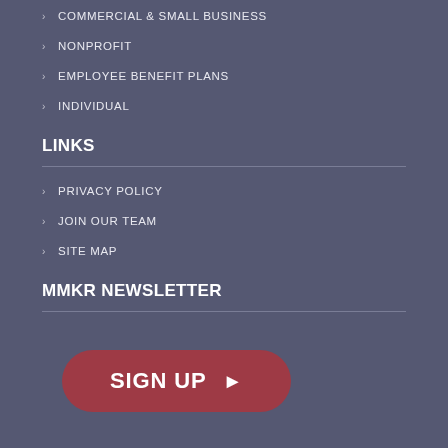COMMERCIAL & SMALL BUSINESS
NONPROFIT
EMPLOYEE BENEFIT PLANS
INDIVIDUAL
LINKS
PRIVACY POLICY
JOIN OUR TEAM
SITE MAP
MMKR NEWSLETTER
[Figure (other): Sign up button with play arrow icon, dark red/maroon rounded rectangle button with text SIGN UP and a right-pointing triangle]